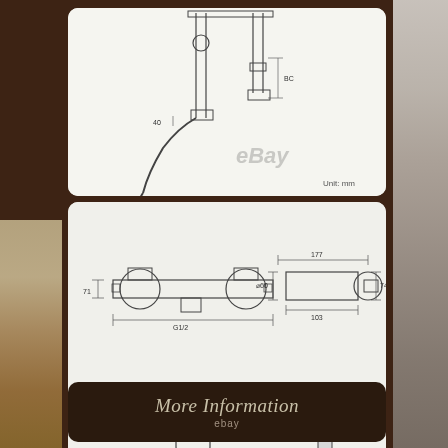[Figure (engineering-diagram): Technical engineering schematic of a shower/faucet system showing side and front views with dimension annotations. Shows plumbing components with connecting hose. Unit: mm watermark visible. eBay watermark overlaid.]
[Figure (engineering-diagram): Technical engineering schematic of a bath mixer tap/faucet showing top view, side view, and front view with dimension annotations (177, 103, G1/2 thread, diameter measurements). A 3D perspective rendering of the faucet is shown bottom right. eBay watermark overlaid.]
More Information
ebay